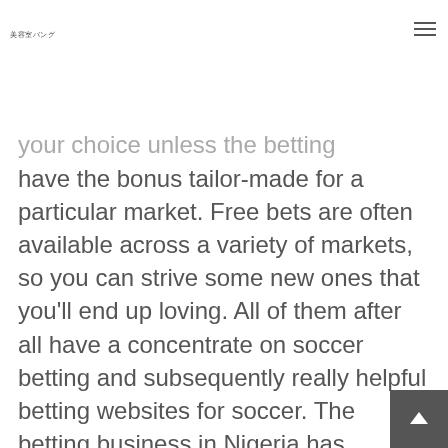美容室バング
your choice unless the betting websites have the bonus tailor-made for a particular market. Free bets are often available across a variety of markets, so you can strive some new ones that you'll end up loving. All of them after all have a concentrate on soccer betting and subsequently really helpful betting websites for soccer. The betting business in Nigeria has become highly aggressive, and old guards like Operator X are repeatedly on their toes to grow their customer base. With every betting firm